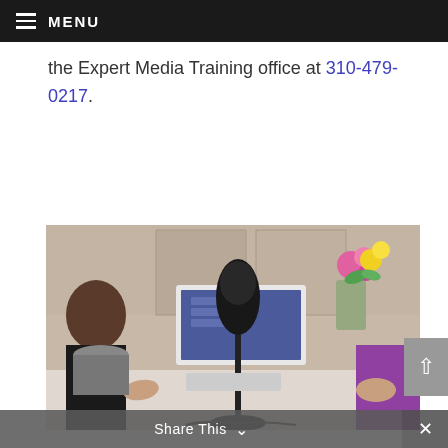MENU
the Expert Media Training office at 310-479-0217.
[Figure (photo): Two people sitting at a desk with a large black USB microphone in the foreground, a laptop and monitor in the background showing content, and a vase of colorful flowers on the right. One person wears a purple/magenta top.]
Share This  ×